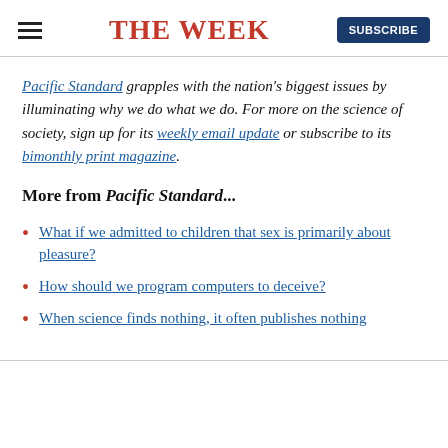THE WEEK
Pacific Standard grapples with the nation's biggest issues by illuminating why we do what we do. For more on the science of society, sign up for its weekly email update or subscribe to its bimonthly print magazine.
More from Pacific Standard...
What if we admitted to children that sex is primarily about pleasure?
How should we program computers to deceive?
When science finds nothing, it often publishes nothing